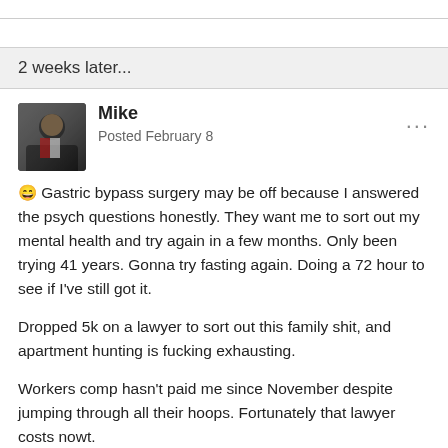2 weeks later...
Mike
Posted February 8
😄 Gastric bypass surgery may be off because I answered the psych questions honestly. They want me to sort out my mental health and try again in a few months. Only been trying 41 years. Gonna try fasting again. Doing a 72 hour to see if I've still got it.

Dropped 5k on a lawyer to sort out this family shit, and apartment hunting is fucking exhausting.

Workers comp hasn't paid me since November despite jumping through all their hoops. Fortunately that lawyer costs nowt.

Been sleeping about 2 hours a night these past few weeks...